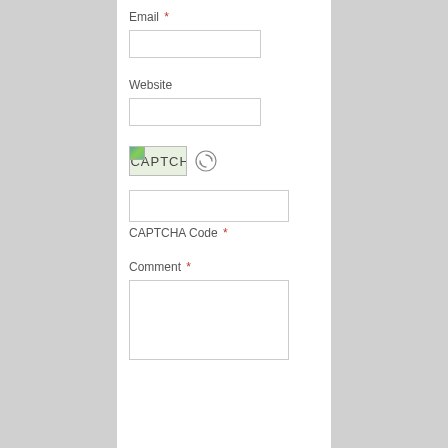Email *
[Figure (other): Empty text input field for Email]
Website
[Figure (other): Empty text input field for Website]
[Figure (other): CAPTCHA image with refresh icon]
[Figure (other): Empty text input field for CAPTCHA Code]
CAPTCHA Code *
Comment *
[Figure (other): Empty textarea for Comment]